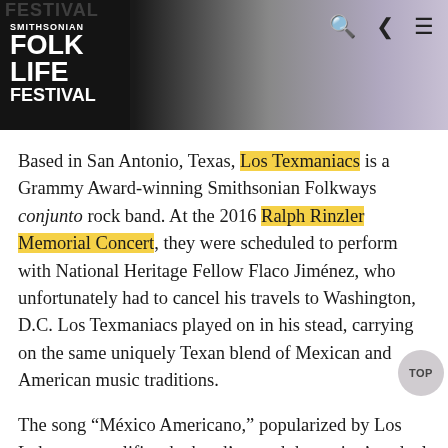[Figure (photo): Smithsonian Folklife Festival header banner with logo on dark background blending into a blurred purple-grey photo]
Based in San Antonio, Texas, Los Texmaniacs is a Grammy Award-winning Smithsonian Folkways conjunto rock band. At the 2016 Ralph Rinzler Memorial Concert, they were scheduled to perform with National Heritage Fellow Flaco Jiménez, who unfortunately had to cancel his travels to Washington, D.C. Los Texmaniacs played on in his stead, carrying on the same uniquely Texan blend of Mexican and American music traditions.
The song “México Americano,” popularized by Los Lobos, exemplifies the band’s—and the region’s—dual identity. You can hear it in the lyrics: